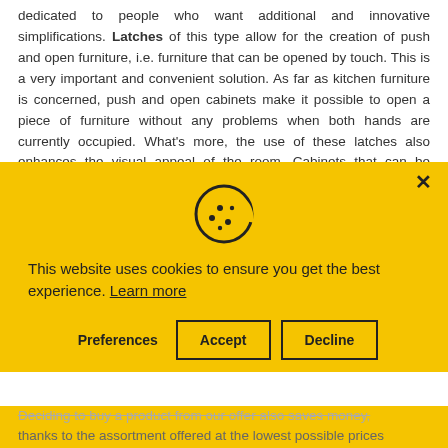dedicated to people who want additional and innovative simplifications. Latches of this type allow for the creation of push and open furniture, i.e. furniture that can be opened by touch. This is a very important and convenient solution. As far as kitchen furniture is concerned, push and open cabinets make it possible to open a piece of furniture without any problems when both hands are currently occupied. What's more, the use of these latches also enhances the visual appeal of the room. Cabinets that can be opened at the touch of a button do not need to have front handles so that a more modern and minimalist space can be arranged.
[Figure (screenshot): Cookie consent modal overlay with yellow background. Contains a cookie icon at top center, a close (×) button at top right, text 'This website uses cookies to ensure you get the best experience. Learn more', and three buttons: Preferences, Accept, Decline.]
Deciding to buy a product from our offer also saves money, thanks to the assortment offered at the lowest possible prices